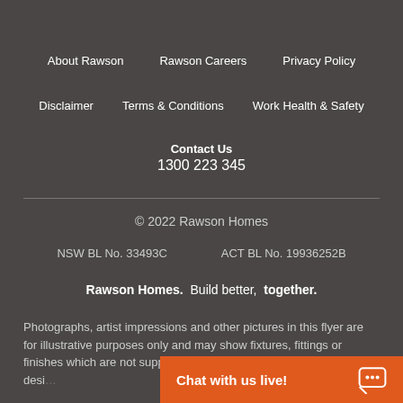About Rawson
Rawson Careers
Privacy Policy
Disclaimer
Terms & Conditions
Work Health & Safety
Contact Us
1300 223 345
© 2022 Rawson Homes
NSW BL No. 33493C   ACT BL No. 19936252B
Rawson Homes. Build better, together.
Photographs, artist impressions and other pictures in this flyer are for illustrative purposes only and may show fixtures, fittings or finishes which are not supplied by Rawson Homes or may only be available in some Rawson Homes desi…